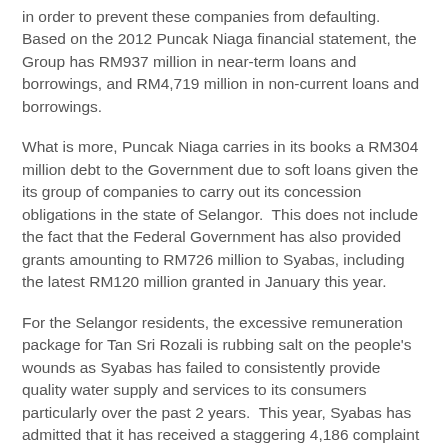in order to prevent these companies from defaulting. Based on the 2012 Puncak Niaga financial statement, the Group has RM937 million in near-term loans and borrowings, and RM4,719 million in non-current loans and borrowings.
What is more, Puncak Niaga carries in its books a RM304 million debt to the Government due to soft loans given the its group of companies to carry out its concession obligations in the state of Selangor. This does not include the fact that the Federal Government has also provided grants amounting to RM726 million to Syabas, including the latest RM120 million granted in January this year.
For the Selangor residents, the excessive remuneration package for Tan Sri Rozali is rubbing salt on the people's wounds as Syabas has failed to consistently provide quality water supply and services to its consumers particularly over the past 2 years. This year, Syabas has admitted that it has received a staggering 4,186 complaint calls daily since the start of the year as a result of constant water disruption, usually relating to poor pipe and reservoir maintenance.